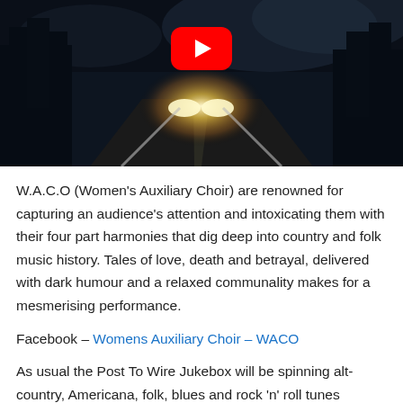[Figure (photo): YouTube video thumbnail showing a night road scene with headlights, dark trees, and a YouTube play button overlay in the center top area.]
W.A.C.O (Women's Auxiliary Choir) are renowned for capturing an audience's attention and intoxicating them with their four part harmonies that dig deep into country and folk music history. Tales of love, death and betrayal, delivered with dark humour and a relaxed communality makes for a mesmerising performance.
Facebook – Womens Auxiliary Choir – WACO
As usual the Post To Wire Jukebox will be spinning alt-country, Americana, folk, blues and rock 'n' roll tunes